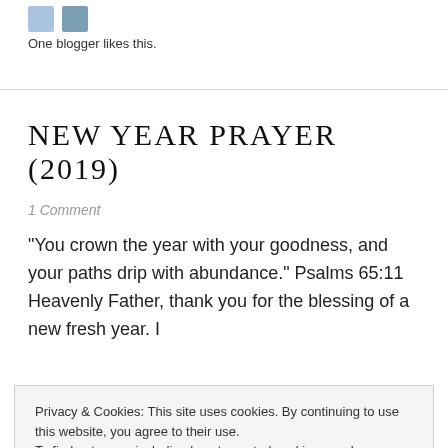One blogger likes this.
NEW YEAR PRAYER (2019)
1 Comment
"You crown the year with your goodness, and your paths drip with abundance." Psalms 65:11 Heavenly Father, thank you for the blessing of a new fresh year. I
Privacy & Cookies: This site uses cookies. By continuing to use this website, you agree to their use.
To find out more, including how to control cookies, see here: Cookie Policy